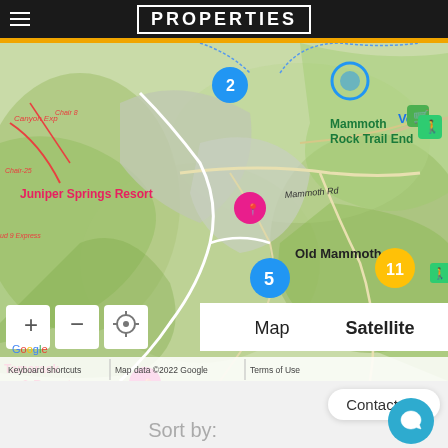PROPERTIES
[Figure (map): Google Maps view of Mammoth Lakes area showing Juniper Springs Resort, Tamarack Lodge & Resort, Old Mammoth, Mammoth Rock Trail End, Vons, numbered property markers (2, 5, 11), ski runs and green terrain. Map controls include +, -, location pin buttons, and Map/Satellite toggle. Attribution: Keyboard shortcuts | Map data ©2022 Google | Terms of Use]
Contact us.
Sort by: